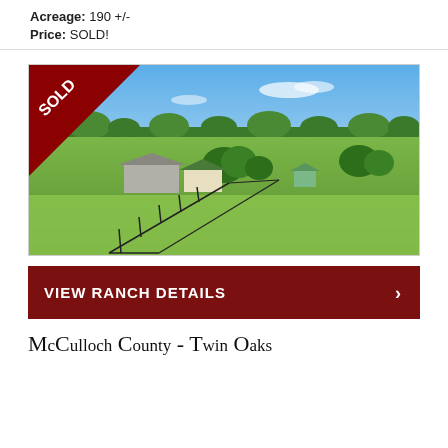Acreage: 190 +/-
Price: SOLD!
[Figure (photo): Aerial drone photograph of a Texas ranch property showing a farmhouse with green metal roof, barn, fencing, green pastures, and wooded background under blue sky. A dark red 'SOLD' ribbon banner is in the upper-left corner.]
VIEW RANCH DETAILS ›
McCulloch County - Twin Oaks